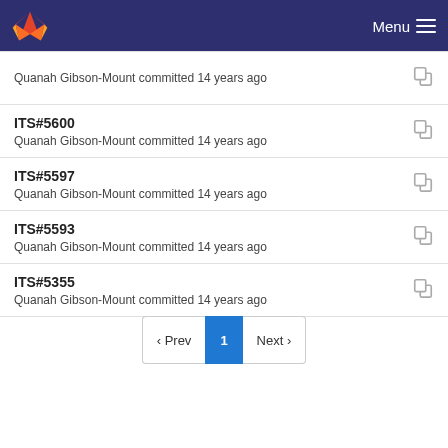Menu
Quanah Gibson-Mount committed 14 years ago
ITS#5600
Quanah Gibson-Mount committed 14 years ago
ITS#5597
Quanah Gibson-Mount committed 14 years ago
ITS#5593
Quanah Gibson-Mount committed 14 years ago
ITS#5355
Quanah Gibson-Mount committed 14 years ago
‹ Prev  1  Next ›